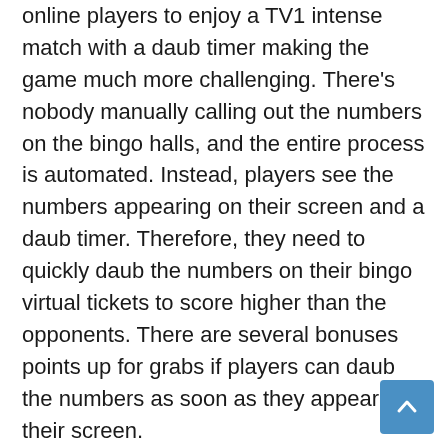online players to enjoy a TV1 intense match with a daub timer making the game much more challenging. There's nobody manually calling out the numbers on the bingo halls, and the entire process is automated. Instead, players see the numbers appearing on their screen and a daub timer. Therefore, they need to quickly daub the numbers on their bingo virtual tickets to score higher than the opponents. There are several bonuses points up for grabs if players can daub the numbers as soon as they appear on their screen.
Also, bingo in today's time comes in several varieties. For example, if you are bored of playing 75 ball bingo, you can switch to playing 90 ball bingo or even 30 ball bingo. There are also